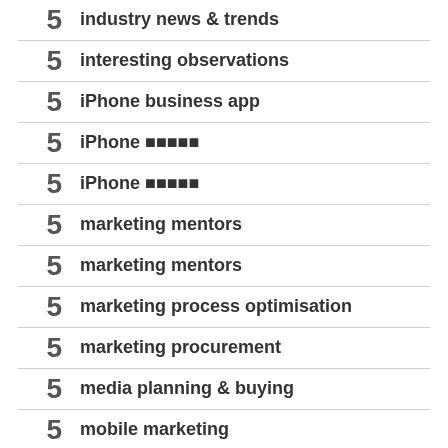5 industry news & trends
5 interesting observations
5 iPhone business app
5 iPhone 日本語1
5 iPhone 日本語2
5 marketing mentors
5 marketing mentors
5 marketing process optimisation
5 marketing procurement
5 media planning & buying
5 mobile marketing